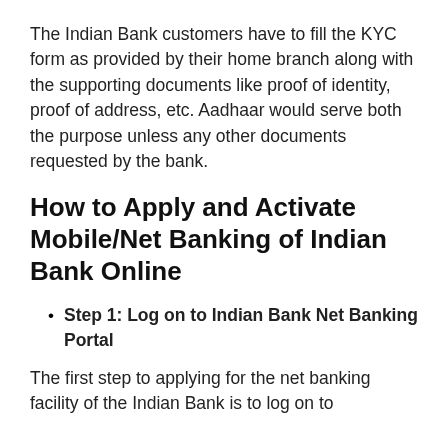The Indian Bank customers have to fill the KYC form as provided by their home branch along with the supporting documents like proof of identity, proof of address, etc. Aadhaar would serve both the purpose unless any other documents requested by the bank.
How to Apply and Activate Mobile/Net Banking of Indian Bank Online
Step 1: Log on to Indian Bank Net Banking Portal
The first step to applying for the net banking facility of the Indian Bank is to log on to